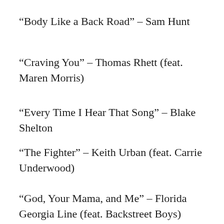“Body Like a Back Road” – Sam Hunt
“Craving You” – Thomas Rhett (feat. Maren Morris)
“Every Time I Hear That Song” – Blake Shelton
“The Fighter” – Keith Urban (feat. Carrie Underwood)
“God, Your Mama, and Me” – Florida Georgia Line (feat. Backstreet Boys)
“[I Can Give You Right to Your…]” – [Dan+Shay…]